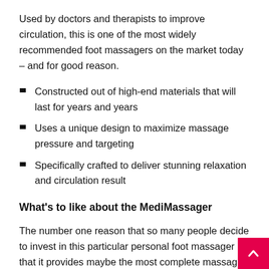Used by doctors and therapists to improve circulation, this is one of the most widely recommended foot massagers on the market today – and for good reason.
Constructed out of high-end materials that will last for years and years
Uses a unique design to maximize massage pressure and targeting
Specifically crafted to deliver stunning relaxation and circulation result
What's to like about the MediMassager
The number one reason that so many people decide to invest in this particular personal foot massager is that it provides maybe the most complete massage available. You're literally going to feel like professional masseuses are working over